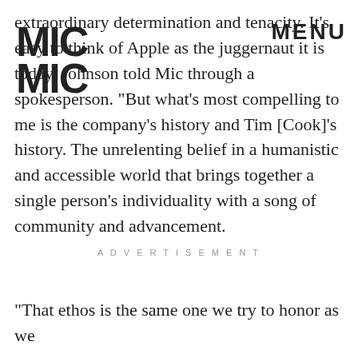[Figure (logo): MIC logo — block letters MIC stacked in two rows]
MENU
extraordinary determination and tenacity. It's easy to think of Apple as the juggernaut it is today, Johnson told Mic through a spokesperson. "But what's most compelling to me is the company's history and Tim [Cook]'s history. The unrelenting belief in a humanistic and accessible world that brings together a single person's individuality with a song of community and advancement.
ADVERTISEMENT
"That ethos is the same one we try to honor as we